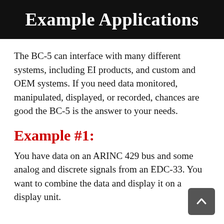Example Applications
The BC-5 can interface with many different systems, including EI products, and custom and OEM systems. If you need data monitored, manipulated, displayed, or recorded, chances are good the BC-5 is the answer to your needs.
Example #1:
You have data on an ARINC 429 bus and some analog and discrete signals from an EDC-33. You want to combine the data and display it on a display unit.